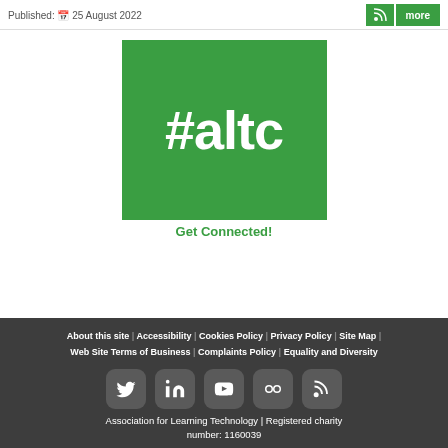Published: 25 August 2022
[Figure (logo): Green square with white #altc text hashtag logo]
Get Connected!
About this site | Accessibility | Cookies Policy | Privacy Policy | Site Map | Web Site Terms of Business | Complaints Policy | Equality and Diversity | Social icons: Twitter, LinkedIn, YouTube, Flickr, RSS | Association for Learning Technology | Registered charity number: 1160039